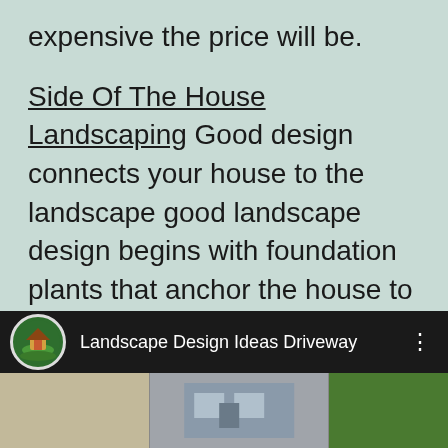expensive the price will be.
Side Of The House Landscaping Good design connects your house to the landscape good landscape design begins with foundation plants that anchor the house to the site, while incorporating trees and shrubs that frame the house. check … This makes the south and west side of an unshaded house very warm for several hours a
[Figure (screenshot): Mobile app bottom bar with logo icon labeled 'Landscape Design Ideas Driveway' with three-dot menu]
[Figure (photo): Photo strip at the bottom showing a house exterior with driveway and landscaping]